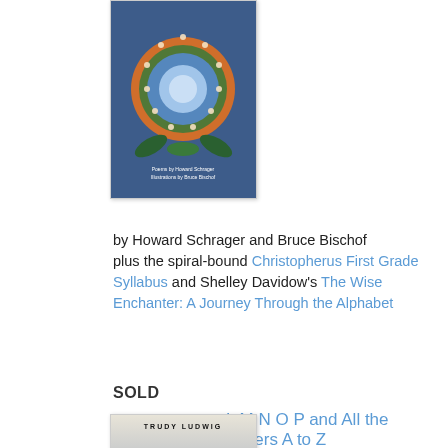[Figure (photo): Book cover for 'L M N O P and All the Letters A to Z' showing a colorful mandala design with figures holding hands in a circle on a blue background]
L M N O P and All the Letters A to Z
by Howard Schrager and Bruce Bischof plus the spiral-bound Christopherus First Grade Syllabus and Shelley Davidow's The Wise Enchanter: A Journey Through the Alphabet
SOLD
[Figure (photo): Book cover for 'The Invisible Boy' by Trudy Ludwig showing a boy crouching on a rocky surface, with illustrated watercolor style art]